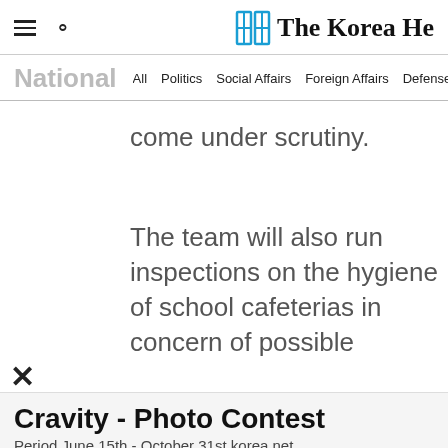The Korea Herald - Navigation header with hamburger menu, search icon, and logo
National  All  Politics  Social Affairs  Foreign Affairs  Defense  North Korea  Hw...
come under scrutiny.
The team will also run inspections on the hygiene of school cafeterias in concern of possible
Cravity - Photo Contest
Period June 15th - October 31st korea.net